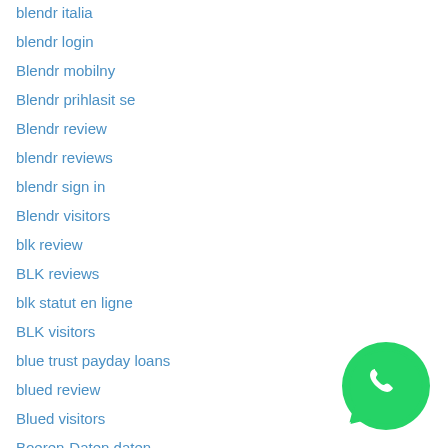blendr italia
blendr login
Blendr mobilny
Blendr prihlasit se
Blendr review
blendr reviews
blendr sign in
Blendr visitors
blk review
BLK reviews
blk statut en ligne
BLK visitors
blue trust payday loans
blued review
Blued visitors
Boeren-Daten daten
[Figure (logo): WhatsApp green circular button icon]